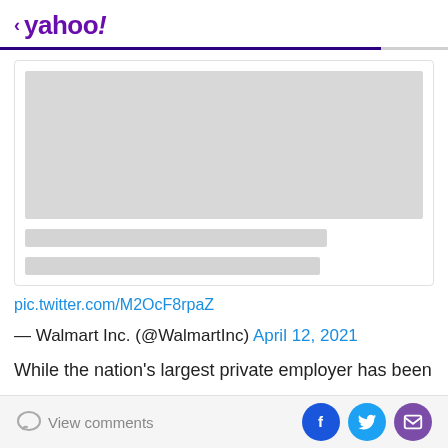< yahoo!
[Figure (screenshot): Tweet card placeholder with a large grey image area and two grey text bars below it]
pic.twitter.com/M2OcF8rpaZ
— Walmart Inc. (@WalmartInc) April 12, 2021
While the nation's largest private employer has been
View comments | Facebook share | Twitter share | Email share